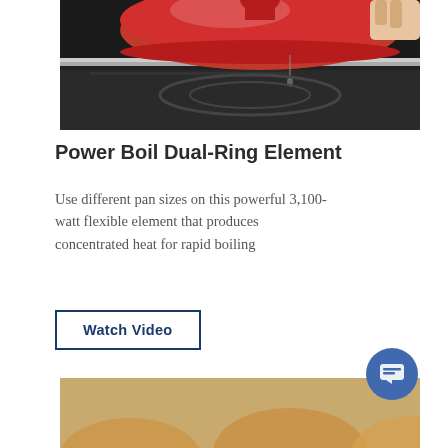[Figure (photo): Close-up of a red pot/pan being used on a black glass stovetop, with a handle visible and cooking surface shown]
Power Boil Dual-Ring Element
Use different pan sizes on this powerful 3,100-watt flexible element that produces concentrated heat for rapid boiling
Watch Video
[Figure (photo): Several round golden-brown pancakes or cookies on a black griddle/pan, with a pan handle visible in the foreground]